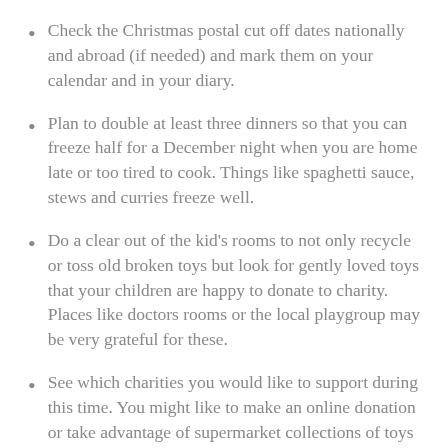Check the Christmas postal cut off dates nationally and abroad (if needed) and mark them on your calendar and in your diary.
Plan to double at least three dinners so that you can freeze half for a December night when you are home late or too tired to cook. Things like spaghetti sauce, stews and curries freeze well.
Do a clear out of the kid’s rooms to not only recycle or toss old broken toys but look for gently loved toys that your children are happy to donate to charity. Places like doctors rooms or the local playgroup may be very grateful for these.
See which charities you would like to support during this time. You might like to make an online donation or take advantage of supermarket collections of toys